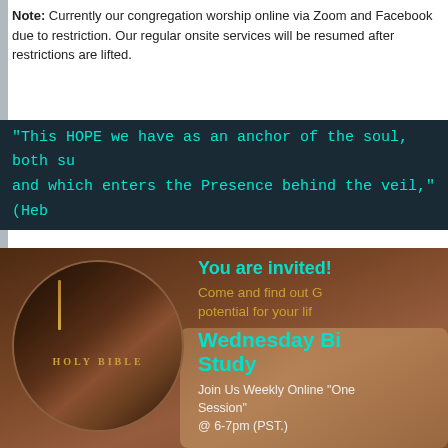Note: Currently our congregation worship online via Zoom and Facebook due to restriction. Our regular onsite services will be resumed after restrictions are lifted.
[Figure (other): Dark teal banner with Bible quote: "This HOPE we have as an anchor of the soul, both sure and steadfast, and which enters the Presence behind the veil," (Heb...)]
[Figure (infographic): Promotional image for Wednesday Bible Study featuring a Holy Bible in a circular frame on a dark background with text: You are invited! Come and find out God's potential for your life. Wednesday Bible Study. Join Us Weekly Online 'One Session' @ 6-7pm (PST.)]